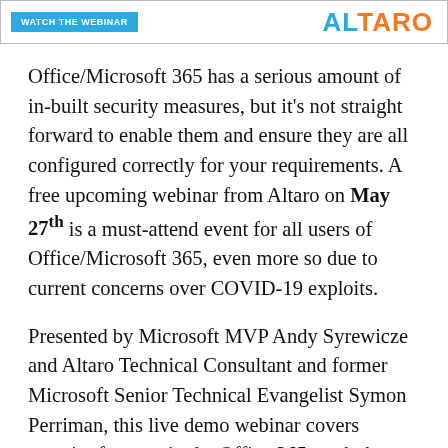[Figure (other): Banner with 'WATCH THE WEBINAR' button in cyan and 'ALTARO' logo in orange/blue]
Office/Microsoft 365 has a serious amount of in-built security measures, but it's not straight forward to enable them and ensure they are all configured correctly for your requirements. A free upcoming webinar from Altaro on May 27th is a must-attend event for all users of Office/Microsoft 365, even more so due to current concerns over COVID-19 exploits.
Presented by Microsoft MVP Andy Syrewicze and Altaro Technical Consultant and former Microsoft Senior Technical Evangelist Symon Perriman, this live demo webinar covers security features in the Office 365 stack that